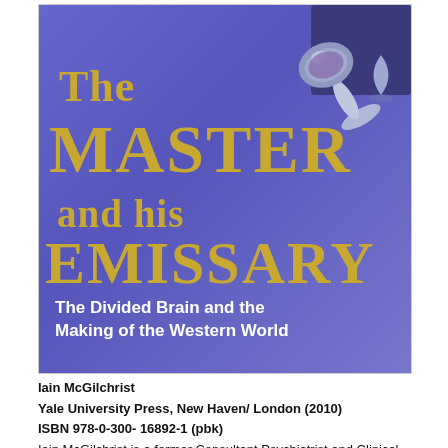[Figure (photo): Book cover of 'The Master and his Emissary: The Divided Brain and the Making of the Western World' by Iain McGilchrist. Blue/purple background with gold title text and a photo of a spoon/mirror at the top right. Subtitle in white text at the bottom.]
Iain McGilchrist
Yale University Press, New Haven/ London (2010)
ISBN 978-0-300- 16892-1 (pbk)
Iain McGilchrist is a former Consultant Psychiatrist and Clinical